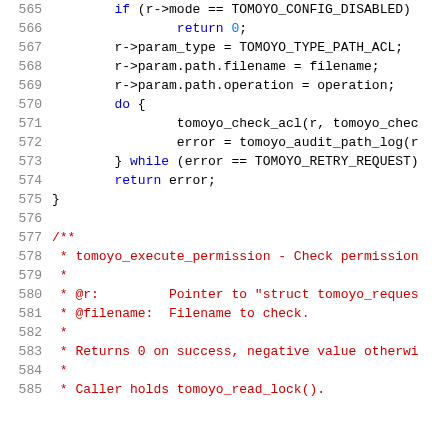[Figure (screenshot): Source code listing lines 565-585 of a C file showing tomoyo security module code. Lines 565-575 show a code block with if/return/do-while statements. Lines 577-585 show a Doxygen comment block for tomoyo_execute_permission function.]